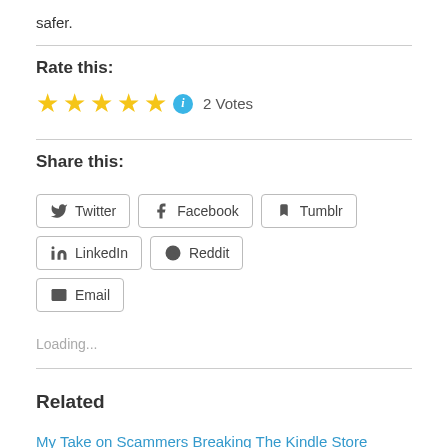safer.
Rate this:
★★★★★ ℹ 2 Votes
Share this:
Twitter
Facebook
Tumblr
LinkedIn
Reddit
Email
Loading...
Related
My Take on Scammers Breaking The Kindle Store